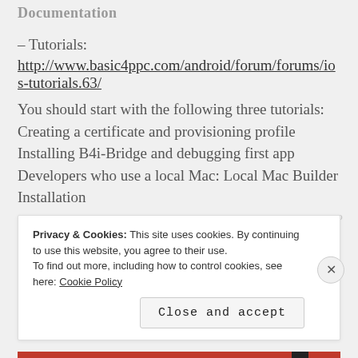Documentation
– Tutorials:
http://www.basic4ppc.com/android/forum/forums/ios-tutorials.63/
You should start with the following three tutorials:
Creating a certificate and provisioning profile
Installing B4i-Bridge and debugging first app
Developers who use a local Mac: Local Mac Builder Installation
REPORT THIS AD
Privacy & Cookies: This site uses cookies. By continuing to use this website, you agree to their use.
To find out more, including how to control cookies, see here: Cookie Policy
Close and accept